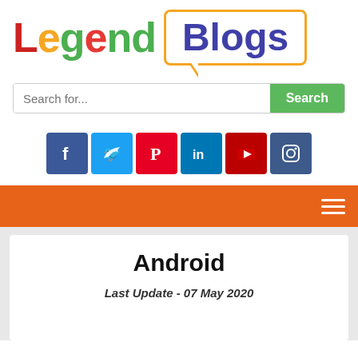[Figure (logo): Legend Blogs logo: 'Legend' in large multicolor bold text, 'Blogs' in dark blue inside a yellow speech bubble]
[Figure (screenshot): Search bar with placeholder 'Search for...' and green Search button]
[Figure (infographic): Row of 6 social media icons: Facebook, Twitter, Pinterest, LinkedIn, YouTube, Instagram]
[Figure (screenshot): Orange navigation bar with hamburger menu icon on right]
Android
Last Update - 07 May 2020